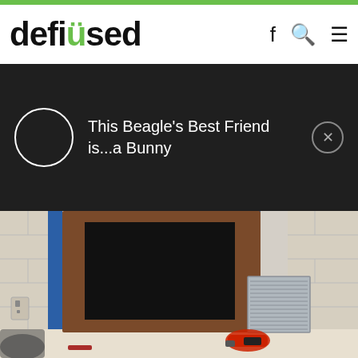defused
[Figure (screenshot): Notification banner overlay on dark background showing a circle icon and text: This Beagle's Best Friend is...a Bunny, with a close (X) button]
[Figure (photo): Photo of a wooden door with a square hole cut out, blue painter's tape on the frame edges, a metal vent cover leaning against the wall, a power drill on the floor, and a trash bag visible at bottom left]